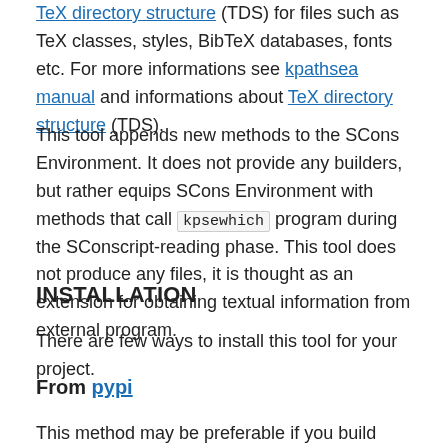TeX directory structure (TDS) for files such as TeX classes, styles, BibTeX databases, fonts etc. For more informations see kpathsea manual and informations about TeX directory structure (TDS).
This tool appends new methods to the SCons Environment. It does not provide any builders, but rather equips SCons Environment with methods that call kpsewhich program during the SConscript-reading phase. This tool does not produce any files, it is thought as an extension for obtaining textual information from external program.
INSTALLATION
There are few ways to install this tool for your project.
From pypi
This method may be preferable if you build your project under a